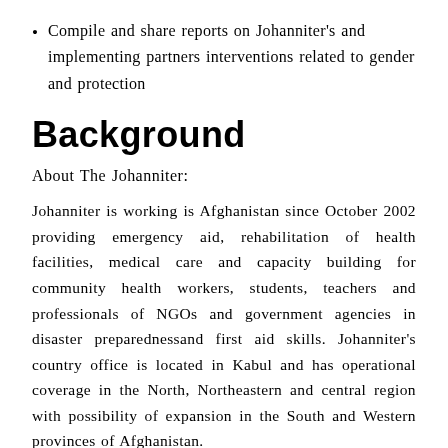Compile and share reports on Johanniter's and implementing partners interventions related to gender and protection
Background
About The Johanniter:
Johanniter is working is Afghanistan since October 2002 providing emergency aid, rehabilitation of health facilities, medical care and capacity building for community health workers, students, teachers and professionals of NGOs and government agencies in disaster preparednessand first aid skills. Johanniter's country office is located in Kabul and has operational coverage in the North, Northeastern and central region with possibility of expansion in the South and Western provinces of Afghanistan.